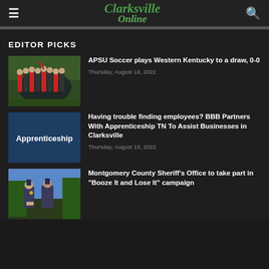Clarksville Online
EDITOR PICKS
[Figure (photo): Soccer team huddle in red and black uniforms outdoors]
APSU Soccer plays Western Kentucky to a draw, 0-0
Thursday, August 18, 2022
[Figure (photo): Blue graphic image with text 'Apprenticeship']
Having trouble finding employees? BBB Partners With Apprenticeship TN To Assist Businesses in Clarksville
Thursday, August 18, 2022
[Figure (photo): Two police officers standing outdoors near trees]
Montgomery County Sheriff's Office to take part in "Booze It and Lose It" campaign